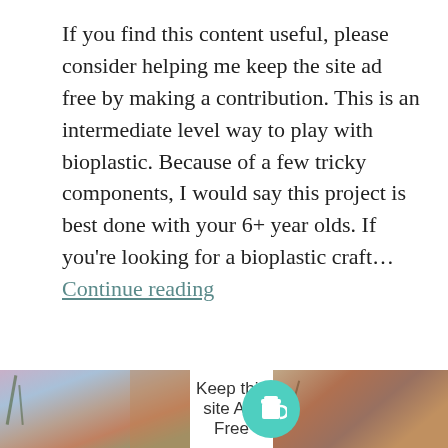If you find this content useful, please consider helping me keep the site ad free by making a contribution. This is an intermediate level way to play with bioplastic. Because of a few tricky components, I would say this project is best done with your 6+ year olds. If you're looking for a bioplastic craft… Continue reading
Tagged Bioplastic, diy plastic, forest school craft, gelatin plastic
1 Comment
[Figure (photo): Bottom section with two craft/art photos on left and right sides, and a centered white ad banner reading 'Keep this site Ad-Free' with a teal coffee cup icon button on the right]